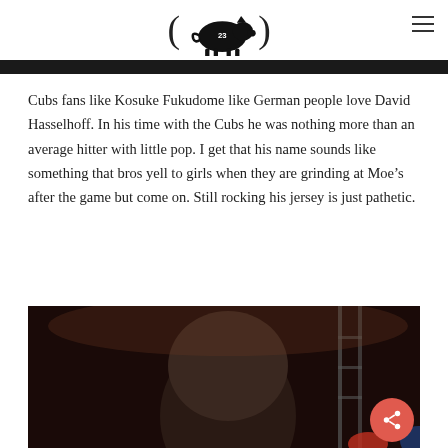Pig logo with number 23
[Figure (photo): Dark photo strip at top of page]
Cubs fans like Kosuke Fukudome like German people love David Hasselhoff. In his time with the Cubs he was nothing more than an average hitter with little pop. I get that his name sounds like something that bros yell to girls when they are grinding at Moe’s after the game but come on. Still rocking his jersey is just pathetic.
[Figure (photo): Dark photo showing the back of a person's head at what appears to be a bar or concert venue with scaffolding visible]